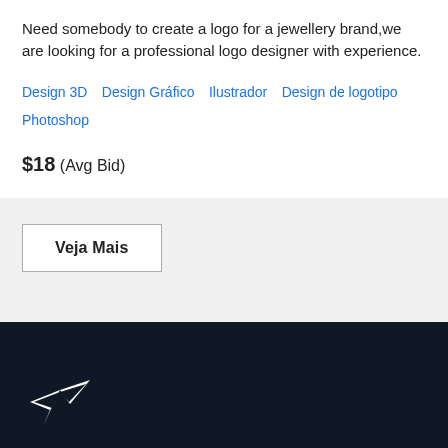Need somebody to create a logo for a jewellery brand,we are looking for a professional logo designer with experience.
Design 3D   Design Gráfico   Ilustrador   Design de logotipo   Photoshop
$18  (Avg Bid)
Veja Mais
[Figure (logo): Freelancer hummingbird logo in white on dark navy background]
Português - Brazil